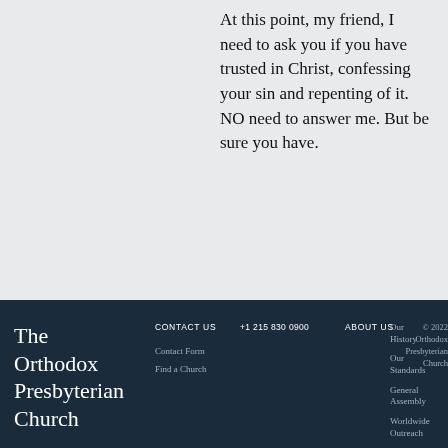At this point, my friend, I need to ask you if you have trusted in Christ, confessing your sin and repenting of it. NO need to answer me. But be sure you have.
The Orthodox Presbyterian Church | CONTACT US | +1 215 830 0900 | Contact Form | Find a Church | ABOUT US | Our History | Our Standards | General Assembly | Worldwide Outreach | © 2022 Orthodox Presbyterian Church